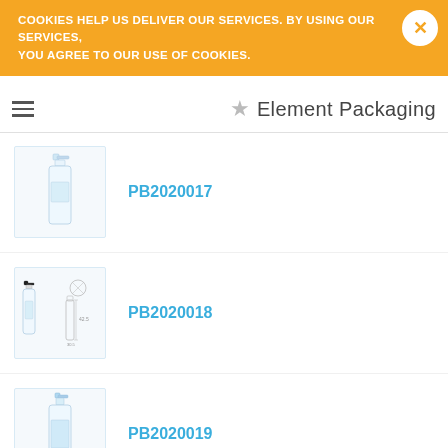COOKIES HELP US DELIVER OUR SERVICES. BY USING OUR SERVICES, YOU AGREE TO OUR USE OF COOKIES.
Element Packaging
[Figure (photo): Product image for PB2020017 - clear plastic spray bottle]
PB2020017
[Figure (photo): Product image for PB2020018 - small clear plastic spray bottle with technical diagram]
PB2020018
[Figure (photo): Product image for PB2020019 - clear plastic spray bottle]
PB2020019
[Figure (photo): Product image for PB2020020 - clear plastic spray bottle]
PB2020020